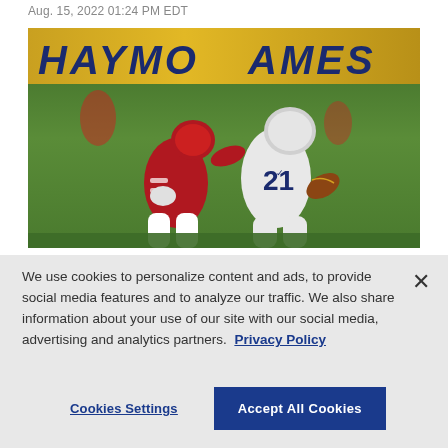Aug. 15, 2022 01:24 PM EDT
[Figure (photo): Football game photo showing a Penn State player wearing jersey number 21 in white uniform carrying the ball while being tackled by an Arkansas player in red uniform. The background shows a yellow/gold stadium banner reading 'RAYMO...AMES' (Raymond James).]
We use cookies to personalize content and ads, to provide social media features and to analyze our traffic. We also share information about your use of our site with our social media, advertising and analytics partners. Privacy Policy
Cookies Settings
Accept All Cookies